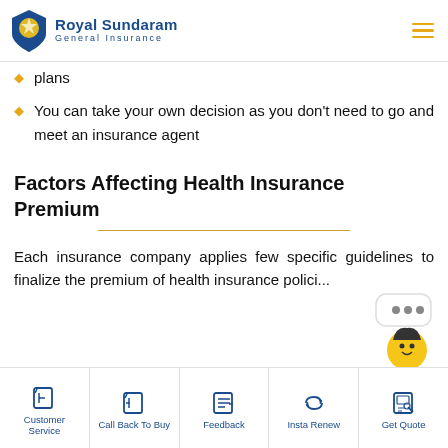Royal Sundaram General Insurance
plans
You can take your own decision as you don't need to go and meet an insurance agent
Factors Affecting Health Insurance Premium
Each insurance company applies few specific guidelines to finalize the premium of health insurance policies. The
Customer Service | Call Back To Buy | Feedback | Insta Renew | Get Quote